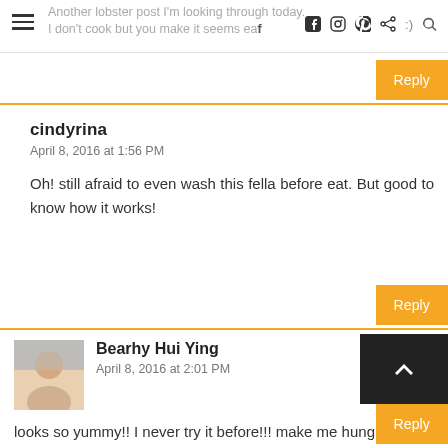Another lobster post I'm looking through today. I don't cook but you make it seems easy n :)
Reply
cindyrina
April 8, 2016 at 1:56 PM
Oh! still afraid to even wash this fella before eat. But good to know how it works!
Reply
Bearhy Hui Ying
April 8, 2016 at 2:01 PM
looks so yummy!! I never try it before!!! make me hungry now!!
Reply